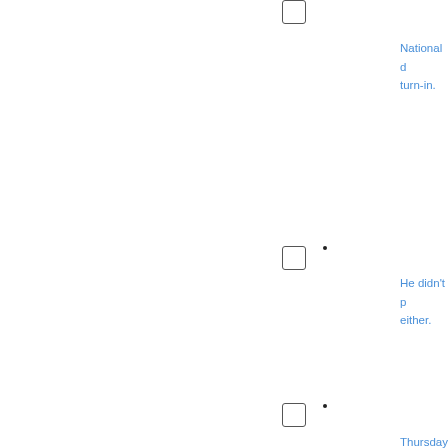[Figure (other): Checkbox (unchecked) near top center of page]
National d... turn-in.
[Figure (other): Dot and checkbox (unchecked) in middle area]
He didn't p... either.
[Figure (other): Dot and checkbox (unchecked) near bottom]
Thursday S... War" multi-... show.